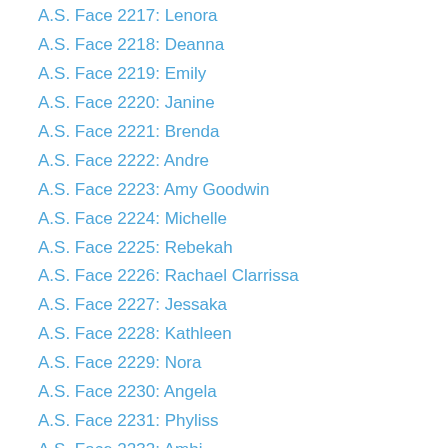A.S. Face 2217: Lenora
A.S. Face 2218: Deanna
A.S. Face 2219: Emily
A.S. Face 2220: Janine
A.S. Face 2221: Brenda
A.S. Face 2222: Andre
A.S. Face 2223: Amy Goodwin
A.S. Face 2224: Michelle
A.S. Face 2225: Rebekah
A.S. Face 2226: Rachael Clarrissa
A.S. Face 2227: Jessaka
A.S. Face 2228: Kathleen
A.S. Face 2229: Nora
A.S. Face 2230: Angela
A.S. Face 2231: Phyliss
A.S. Face 2232: Ambi
A.S. Face 2233: Catherine
A.S. Face 2234: E Christie
A.S. Face 2235: Grace
A.S. Face 2236: Kari